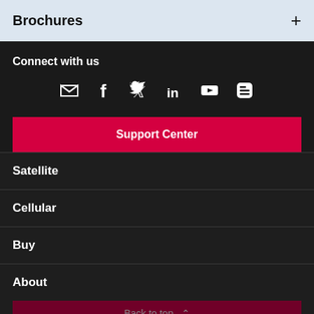Brochures
Connect with us
[Figure (infographic): Social media icons: email/envelope, Facebook, Twitter, LinkedIn, YouTube, Blogger]
Support Center
Satellite
Cellular
Buy
About
Back to top